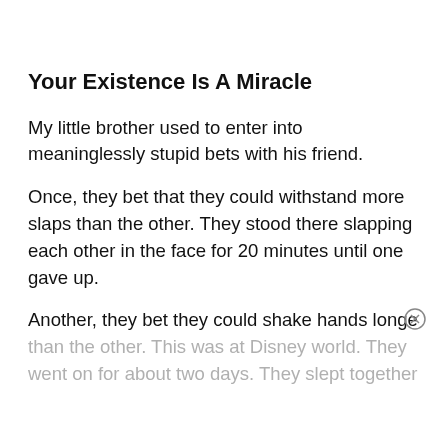Your Existence Is A Miracle
My little brother used to enter into meaninglessly stupid bets with his friend.
Once, they bet that they could withstand more slaps than the other. They stood there slapping each other in the face for 20 minutes until one gave up.
Another, they bet they could shake hands longer than the other. This was at Disney world. They went on for about two days. They slept together